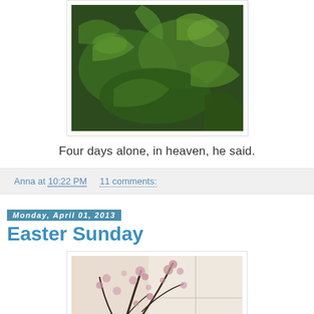[Figure (photo): Photo of green ferns and moss on a wall, displayed in a white-bordered frame]
Four days alone, in heaven, he said.
Anna at 10:22 PM    11 comments:
Monday, April 01, 2013
Easter Sunday
[Figure (photo): Photo of pink cherry blossoms / spring branches in a vase near a bright window, displayed in a white-bordered frame]